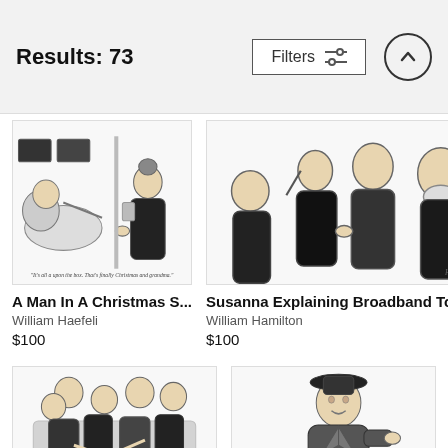Results: 73
[Figure (illustration): New Yorker cartoon: A Man In A Christmas S... by William Haefeli. Black and white ink drawing of a man in bed and a woman standing at a door or screen, with caption text below.]
A Man In A Christmas S...
William Haefeli
$100
[Figure (illustration): New Yorker cartoon: Susanna Explaining Broadband To The... by William Hamilton. Black and white ink drawing of a group of elderly people being explained something by a younger woman, with caption text below.]
Susanna Explaining Broadband To The...
William Hamilton
$100
[Figure (illustration): New Yorker cartoon (partial): Black and white ink drawing of a group of people huddled together.]
[Figure (illustration): New Yorker cartoon (partial): Black and white ink drawing of a woman in a hat and coat.]